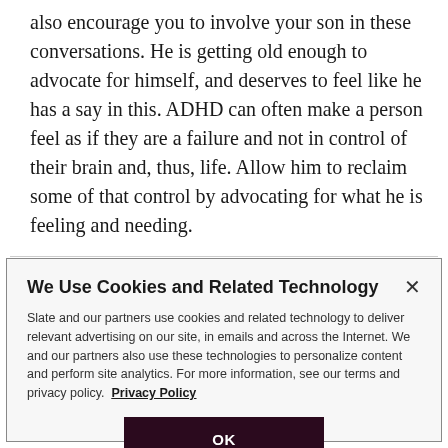also encourage you to involve your son in these conversations. He is getting old enough to advocate for himself, and deserves to feel like he has a say in this. ADHD can often make a person feel as if they are a failure and not in control of their brain and, thus, life. Allow him to reclaim some of that control by advocating for what he is feeling and needing.
We Use Cookies and Related Technology

Slate and our partners use cookies and related technology to deliver relevant advertising on our site, in emails and across the Internet. We and our partners also use these technologies to personalize content and perform site analytics. For more information, see our terms and privacy policy. Privacy Policy

OK